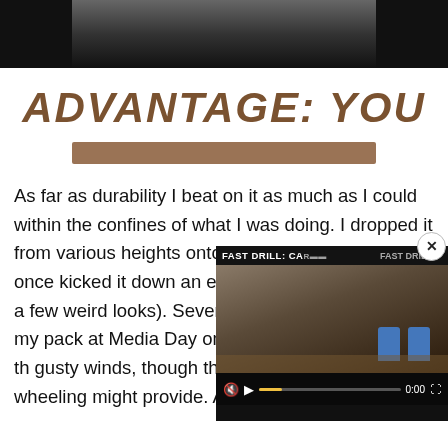[Figure (photo): Partial photo of a person wearing a plaid/checkered jacket, dark background, cropped at top of page]
ADVANTAGE: YOU
[Figure (other): Horizontal brown/tan decorative bar]
As far as durability I beat on it as much as I could within the confines of what I was doing. I dropped it from various heights onto different surfaces and once kicked it down an escalator (which garnered a few weird looks). Several hours mounted outside my pack at Media Day on sand/dust penetration of th gusty winds, though that c a test as some 4-wheeling might provide. As for wate
[Figure (screenshot): Video overlay in bottom right corner labeled FAST DRILL: CAR with video controls showing mute icon, play button, progress bar at 0:00, and fullscreen button. Shows outdoor shooting range scene with blue targets.]